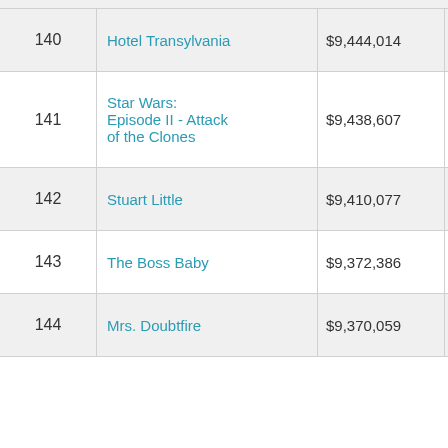| Rank | Title | Value1 | Value2 |
| --- | --- | --- | --- |
| 140 | Hotel Transylvania | $9,444,014 | $148,313,… |
| 141 | Star Wars: Episode II - Attack of the Clones | $9,438,607 | $302,191,… |
| 142 | Stuart Little | $9,410,077 | $140,035,… |
| 143 | The Boss Baby | $9,372,386 | $175,003,… |
| 144 | Mrs. Doubtfire | $9,370,059 | $219,195,… |